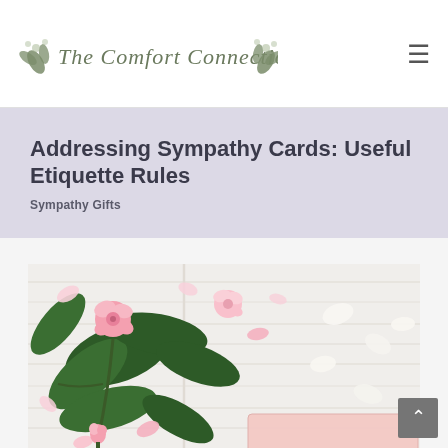The Comfort Connection
Addressing Sympathy Cards: Useful Etiquette Rules
Sympathy Gifts
[Figure (photo): Overhead flat-lay photo of pink roses, flower petals, and green leaves scattered on a white wood surface, with a light pink card or envelope visible in the lower right area of the image.]